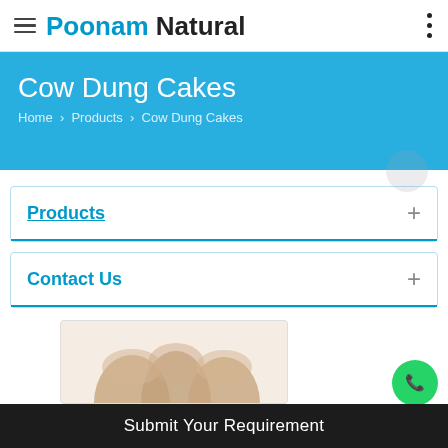Poonam Natural
Cow Dung Cakes
Home › Products › Cow Dung Cakes
Products
Contact Us
[Figure (photo): Cow dung cakes product image — three rounded tan/beige cake shapes visible at bottom of bordered image box]
Submit Your Requirement